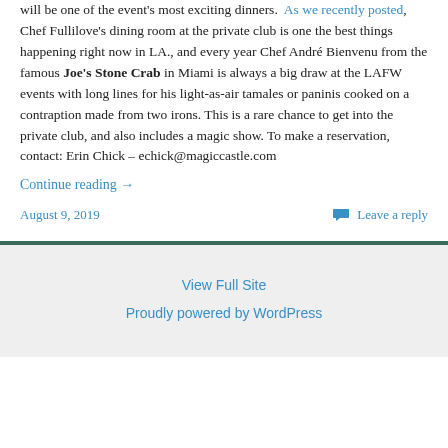will be one of the event's most exciting dinners. As we recently posted, Chef Fullilove's dining room at the private club is one the best things happening right now in LA., and every year Chef André Bienvenu from the famous Joe's Stone Crab in Miami is always a big draw at the LAFW events with long lines for his light-as-air tamales or paninis cooked on a contraption made from two irons. This is a rare chance to get into the private club, and also includes a magic show. To make a reservation, contact: Erin Chick – echick@magiccastle.com
Continue reading →
August 9, 2019
Leave a reply
View Full Site
Proudly powered by WordPress